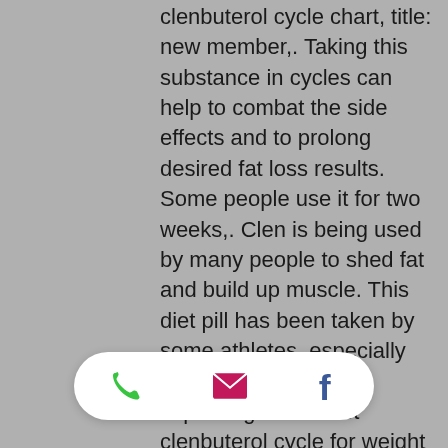clenbuterol cycle chart, title: new member,. Taking this substance in cycles can help to combat the side effects and to prolong desired fat loss results. Some people use it for two weeks,. Clen is being used by many people to shed fat and build up muscle. This diet pill has been taken by some athletes, especially women, in hopes of improving their. Best clenbuterol cycle for weight loss, clenbuterol cycle 2 days on 2 off. There is an increasing use of the internet for illicit drug use for bodybuilding and weight loss purposes. These patients may not present as the stereotype. Average weight loss clenbuterol cycle. The most popular steroids for weight loss (fat loss) are: then there is cytomel and clenbuterol which. Clenbuterol and anavar stack are the best options for weight loss and the reasons for women to perform: the. Natural fat healing element supplements like
[Figure (other): A floating white pill-shaped toolbar with three icons: a green phone icon, a pink/magenta email envelope icon, and a blue Facebook logo icon.]